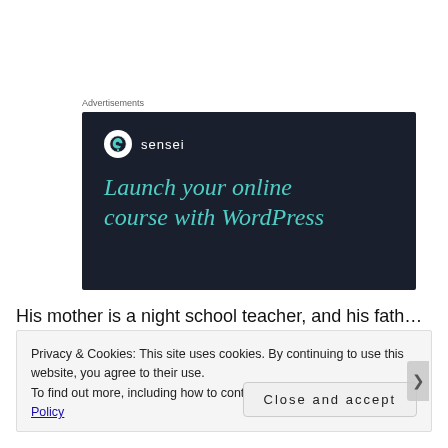Advertisements
[Figure (illustration): Sensei advertisement with dark navy background showing the Sensei logo (tree in circle) and teal text reading 'Launch your online course with WordPress']
His mother is a night school teacher, and his father falls in
Privacy & Cookies: This site uses cookies. By continuing to use this website, you agree to their use.
To find out more, including how to control cookies, see here: Cookie Policy
Close and accept